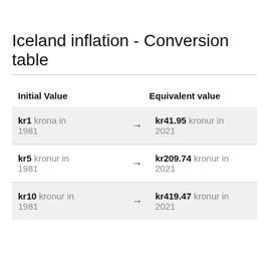Iceland inflation - Conversion table
| Initial Value |  | Equivalent value |
| --- | --- | --- |
| kr1 krona in 1981 | → | kr41.95 kronur in 2021 |
| kr5 kronur in 1981 | → | kr209.74 kronur in 2021 |
| kr10 kronur in 1981 | → | kr419.47 kronur in 2021 |